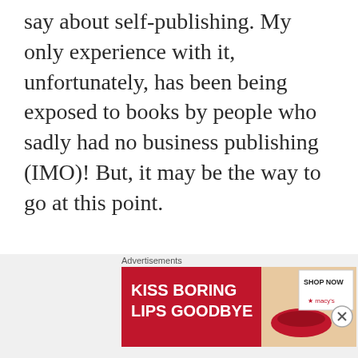say about self-publishing. My only experience with it, unfortunately, has been being exposed to books by people who sadly had no business publishing (IMO)! But, it may be the way to go at this point.

I grow more motivated with each day, and am almost ready to start
[Figure (infographic): Advertisement banner for Macy's lipstick. Red background on left with white bold text 'KISS BORING LIPS GOODBYE'. Center shows a woman's face with red lipstick. Right side has white box with 'SHOP NOW' text and Macy's star logo.]